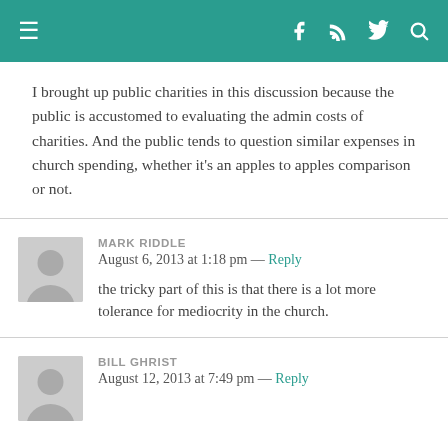Navigation bar with hamburger menu and social icons (Facebook, RSS, Twitter, Search)
I brought up public charities in this discussion because the public is accustomed to evaluating the admin costs of charities. And the public tends to question similar expenses in church spending, whether it's an apples to apples comparison or not.
MARK RIDDLE
August 6, 2013 at 1:18 pm — Reply
the tricky part of this is that there is a lot more tolerance for mediocrity in the church.
BILL GHRIST
August 12, 2013 at 7:49 pm — Reply